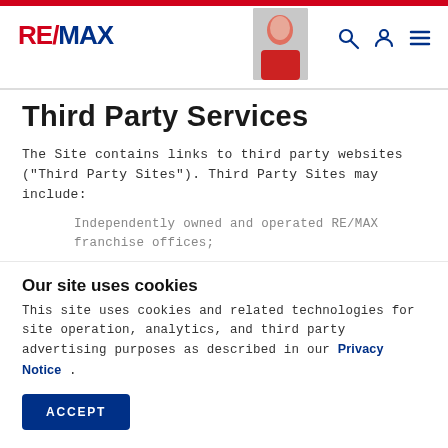RE/MAX header with logo, agent photo, search, account, and menu icons
Third Party Services
The Site contains links to third party websites ("Third Party Sites"). Third Party Sites may include:
Independently owned and operated RE/MAX franchise offices;
Independent RE/MAX sales associates affiliated with RE/MAX franchise offices; and
Our site uses cookies
This site uses cookies and related technologies for site operation, analytics, and third party advertising purposes as described in our Privacy Notice .
ACCEPT